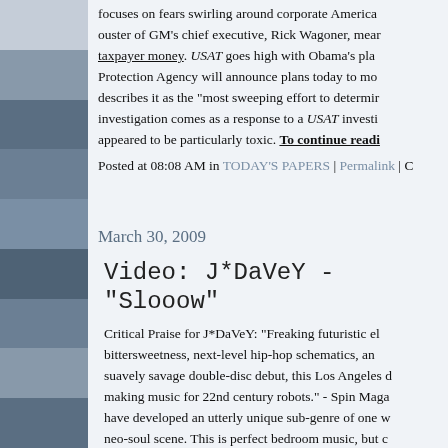focuses on fears swirling around corporate America... ouster of GM's chief executive, Rick Wagoner, mean... taxpayer money. USAT goes high with Obama's plan... Protection Agency will announce plans today to mo... describes it as the "most sweeping effort to determin... investigation comes as a response to a USAT investi... appeared to be particularly toxic. To continue readi...
Posted at 08:08 AM in TODAY'S PAPERS | Permalink | C
March 30, 2009
Video: J*DaVeY - "Slooow"
Critical Praise for J*DaVeY: "Freaking futuristic el... bittersweetness, next-level hip-hop schematics, an... suavely savage double-disc debut, this Los Angeles d... making music for 22nd century robots." - Spin Maga... have developed an utterly unique sub-genre of one w... neo-soul scene. This is perfect bedroom music, but c...